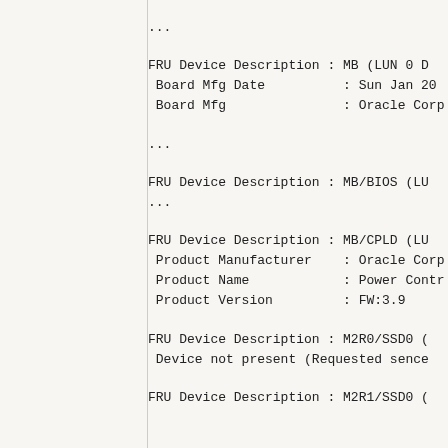...
FRU Device Description : MB (LUN 0 D
 Board Mfg Date          : Sun Jan 20
 Board Mfg               : Oracle Corp
...
FRU Device Description : MB/BIOS (LU
...
FRU Device Description : MB/CPLD (LU
 Product Manufacturer    : Oracle Corp
 Product Name            : Power Contr
 Product Version         : FW:3.9
FRU Device Description : M2R0/SSD0 (
 Device not present (Requested sense
FRU Device Description : M2R1/SSD0 (